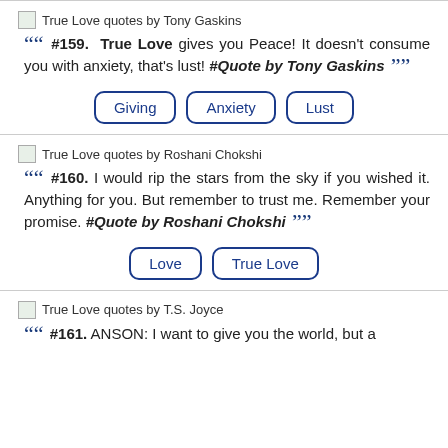True Love quotes by Tony Gaskins
““ #159. True Love gives you Peace! It doesn't consume you with anxiety, that's lust! #Quote by Tony Gaskins ””
Giving
Anxiety
Lust
True Love quotes by Roshani Chokshi
““ #160. I would rip the stars from the sky if you wished it. Anything for you. But remember to trust me. Remember your promise. #Quote by Roshani Chokshi ””
Love
True Love
True Love quotes by T.S. Joyce
““ #161. ANSON: I want to give you the world, but a